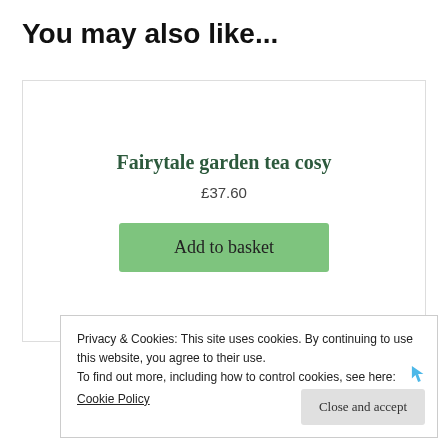You may also like...
Fairytale garden tea cosy
£37.60
Add to basket
Privacy & Cookies: This site uses cookies. By continuing to use this website, you agree to their use.
To find out more, including how to control cookies, see here:
Cookie Policy
Close and accept